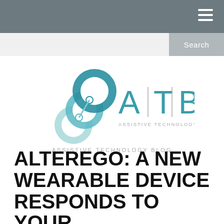[Figure (logo): ATB Assistive Technology Blog logo with interconnected teal rings and the letters A T B with vertical dividers, and text ASSISTIVE TECHNOLOGY BLOG]
ASSISTIVE TECHNOLOGY BLOG
ALTEREGO: A NEW WEARABLE DEVICE RESPONDS TO YOUR